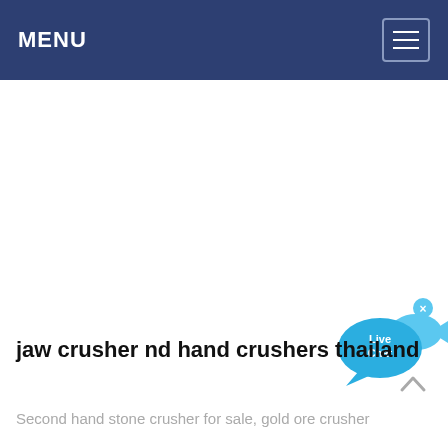MENU
[Figure (illustration): Live Chat widget with speech bubble and fish icon in light blue, with an X close button]
jaw crusher nd hand crushers thailand
Second hand stone crusher for sale, gold ore crusher